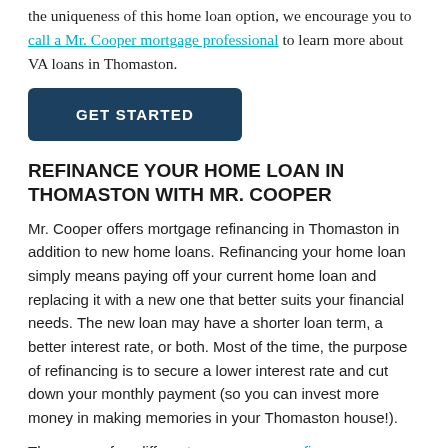the uniqueness of this home loan option, we encourage you to call a Mr. Cooper mortgage professional to learn more about VA loans in Thomaston.
[Figure (other): Dark teal rounded rectangle button with white bold text reading GET STARTED]
REFINANCE YOUR HOME LOAN IN THOMASTON WITH MR. COOPER
Mr. Cooper offers mortgage refinancing in Thomaston in addition to new home loans. Refinancing your home loan simply means paying off your current home loan and replacing it with a new one that better suits your financial needs. The new loan may have a shorter loan term, a better interest rate, or both. Most of the time, the purpose of refinancing is to secure a lower interest rate and cut down your monthly payment (so you can invest more money in making memories in your Thomaston house!).
There are a few different ways you can refinance your home loan. One option is to refinance to get a better interest or loan term. Cash-out refinancing is another option.† It allows homeowners who want to leverage their home's equity as cash to invest in